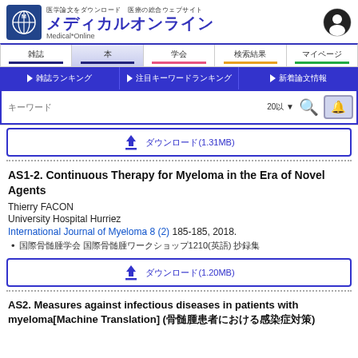[Figure (logo): Medical Online website header with logo, navigation tabs, blue nav bar, and search bar]
ダウンロード(1.31MB)
AS1-2. Continuous Therapy for Myeloma in the Era of Novel Agents
Thierry FACON
University Hospital Hurriez
International Journal of Myeloma 8 (2) 185-185, 2018.
国際骨髄腫学会 国際骨髄腫ワークショップ1210(英語) 抄録集
ダウンロード(1.20MB)
AS2. Measures against infectious diseases in patients with myeloma[Machine Translation] (骨髄腫患者における感染症対策)